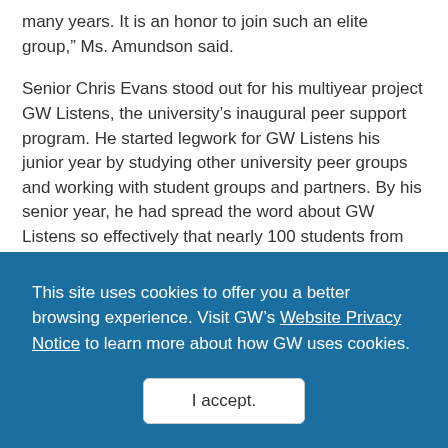many years. It is an honor to join such an elite group,” Ms. Amundson said.
Senior Chris Evans stood out for his multiyear project GW Listens, the university’s inaugural peer support program. He started legwork for GW Listens his junior year by studying other university peer groups and working with student groups and partners. By his senior year, he had spread the word about GW Listens so effectively that nearly 100 students from across the university applied for the 20 peer support spots.
This site uses cookies to offer you a better browsing experience. Visit GW’s Website Privacy Notice to learn more about how GW uses cookies.
I accept.